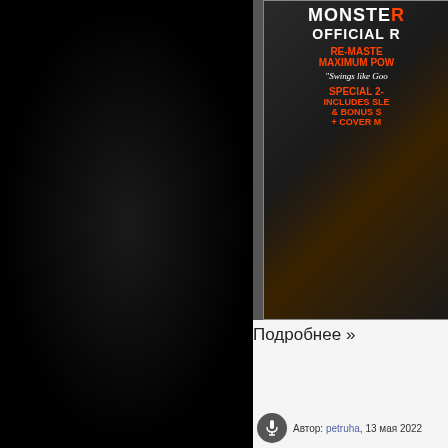[Figure (photo): Dark black textured left panel background]
[Figure (photo): Album cover partially visible on dark gray background. Text reads: MONSTER, OFFICIAL R..., RE-MASTER..., MAXIMUM POW..., Swings like Goo..., SPECIAL 2-..., INCLUDES SLE..., & BONUS S..., + COVER M...]
Подробнее »
Автор: petruha, 13 мая 2022